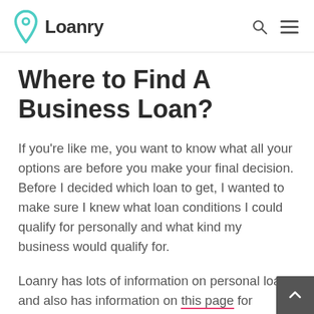Loanry
Where to Find A Business Loan?
If you're like me, you want to know what all your options are before you make your final decision. Before I decided which loan to get, I wanted to make sure I knew what loan conditions I could qualify for personally and what kind my business would qualify for.
Loanry has lots of information on personal loans and also has information on this page for business loans...